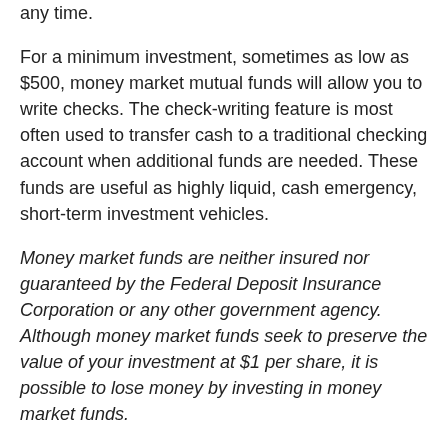any time.
For a minimum investment, sometimes as low as $500, money market mutual funds will allow you to write checks. The check-writing feature is most often used to transfer cash to a traditional checking account when additional funds are needed. These funds are useful as highly liquid, cash emergency, short-term investment vehicles.
Money market funds are neither insured nor guaranteed by the Federal Deposit Insurance Corporation or any other government agency. Although money market funds seek to preserve the value of your investment at $1 per share, it is possible to lose money by investing in money market funds.
Mutual funds are sold by prospectus. Please consider the investment objectives, risks, charges, and expenses carefully before investing. The prospectus, which contains this and other